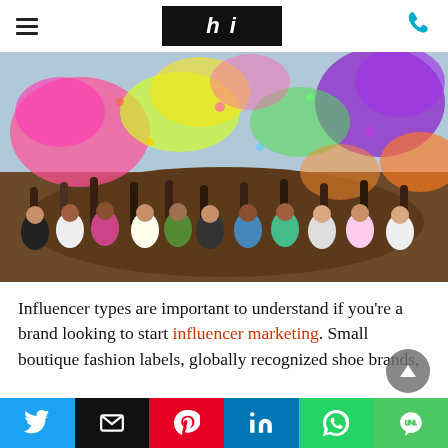≡  [logo: HI]  ☎
[Figure (photo): Crowd of people celebrating a color run festival, covered in bright powder paint of pink, yellow, green, purple, and orange colors thrown into the air against an overcast sky.]
Influencer types are important to understand if you're a brand looking to start influencer marketing. Small boutique fashion labels, globally recognized shoe brands,